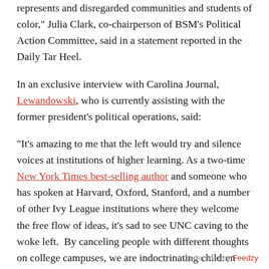represents and disregarded communities and students of color," Julia Clark, co-chairperson of BSM's Political Action Committee, said in a statement reported in the Daily Tar Heel.
In an exclusive interview with Carolina Journal, Lewandowski, who is currently assisting with the former president's political operations, said:
“It’s amazing to me that the left would try and silence voices at institutions of higher learning. As a two-time New York Times best-selling author and someone who has spoken at Harvard, Oxford, Stanford, and a number of other Ivy League institutions where they welcome the free flow of ideas, it’s sad to see UNC caving to the woke left.  By canceling people with different thoughts on college campuses, we are indoctrinating children with radical ideas that will only teach hate and perpetuate divisiveness across this country.”
According to dictionary.com, a white supremacist “is a person who believes that white people constitute a superior race and